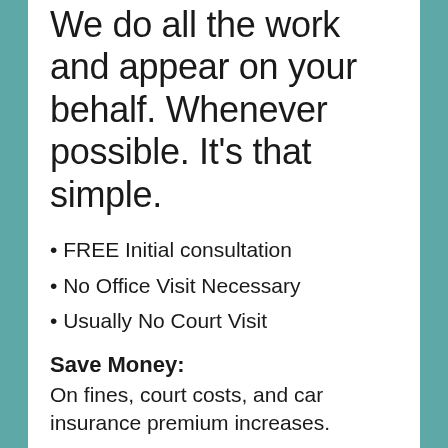We do all the work and appear on your behalf. Whenever possible. It's that simple.
• FREE Initial consultation
• No Office Visit Necessary
• Usually No Court Visit
Save Money:
On fines, court costs, and car insurance premium increases.
Save Time:
No going to court, no multiple trips, and no missed work.
Avoid Anxiety:
When we represent you in traffic court, you may not need to face the judge,